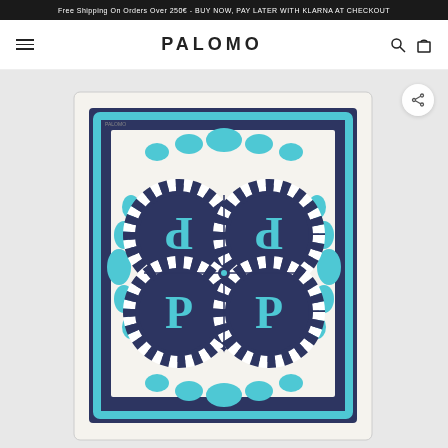Free Shipping On Orders Over 250€ - BUY NOW, PAY LATER WITH KLARNA AT CHECKOUT
PALOMO
[Figure (photo): A decorative silk scarf with navy blue background featuring four circular medallions with the letter 'P' in teal/turquoise, surrounded by ornate baroque-style borders and scrollwork in teal and white on a cream/white background.]